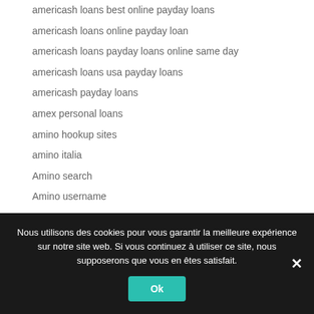americash loans best online payday loans
americash loans online payday loan
americash loans payday loans online same day
americash loans usa payday loans
americash payday loans
amex personal loans
amino hookup sites
amino italia
Amino search
Amino username
amolatina dating site 2021
Nous utilisons des cookies pour vous garantir la meilleure expérience sur notre site web. Si vous continuez à utiliser ce site, nous supposerons que vous en êtes satisfait.